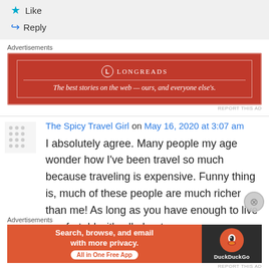Like
Reply
Advertisements
[Figure (screenshot): Longreads advertisement banner: red background with white border, Longreads logo and text 'The best stories on the web — ours, and everyone else's.']
REPORT THIS AD
The Spicy Travel Girl on May 16, 2020 at 3:07 am
I absolutely agree. Many people my age wonder how I've been travel so much because traveling is expensive. Funny thing is, much of these people are much richer than me! As long as you have enough to live comfortably, it's all about
Advertisements
[Figure (screenshot): DuckDuckGo advertisement banner: 'Search, browse, and email with more privacy. All in One Free App' on orange-red background, DuckDuckGo logo on dark background.]